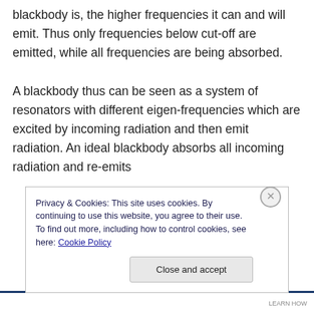blackbody is, the higher frequencies it can and will emit. Thus only frequencies below cut-off are emitted, while all frequencies are being absorbed.
A blackbody thus can be seen as a system of resonators with different eigen-frequencies which are excited by incoming radiation and then emit radiation. An ideal blackbody absorbs all incoming radiation and re-emits
Privacy & Cookies: This site uses cookies. By continuing to use this website, you agree to their use.
To find out more, including how to control cookies, see here: Cookie Policy